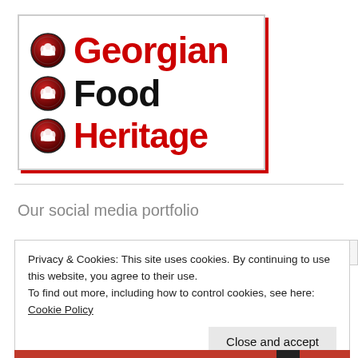[Figure (logo): Georgian Food Heritage logo with three chef hat icons and bold text reading Georgian Food Heritage]
Our social media portfolio
Privacy & Cookies: This site uses cookies. By continuing to use this website, you agree to their use.
To find out more, including how to control cookies, see here: Cookie Policy
Close and accept